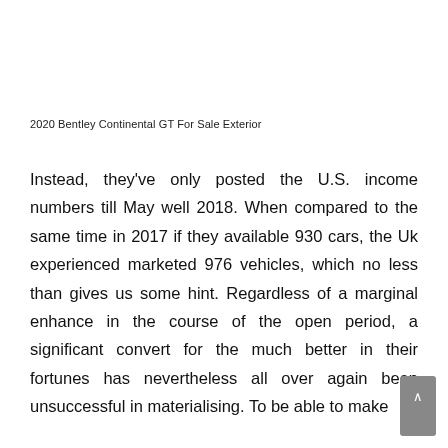2020 Bentley Continental GT For Sale Exterior
Instead, they've only posted the U.S. income numbers till May well 2018. When compared to the same time in 2017 if they available 930 cars, the Uk experienced marketed 976 vehicles, which no less than gives us some hint. Regardless of a marginal enhance in the course of the open period, a significant convert for the much better in their fortunes has nevertheless all over again been unsuccessful in materialising. To be able to make